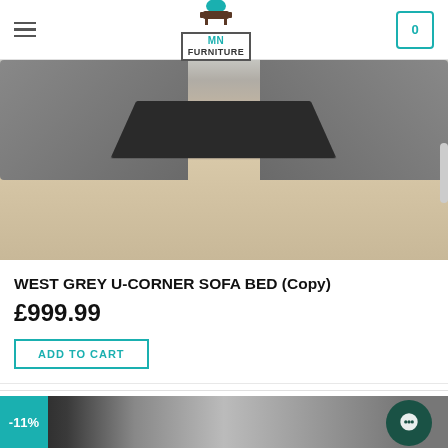MN FURNITURE
[Figure (photo): Photo of a grey U-corner sofa bed with dark rug on light wood floor]
WEST GREY U-CORNER SOFA BED (Copy)
£999.99
ADD TO CART
[Figure (photo): Partial photo of a bedroom/living room product with -11% discount badge]